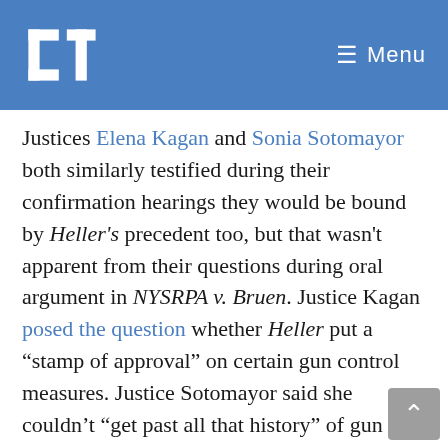ET Menu
Justices Elena Kagan and Sonia Sotomayor both similarly testified during their confirmation hearings they would be bound by Heller's precedent too, but that wasn't apparent from their questions during oral argument in NYSRPA v. Bruen. Justice Kagan posed the question whether Heller put a “stamp of approval” on certain gun control measures. Justice Sotomayor said she couldn’t “get past all that history” of gun regulations.